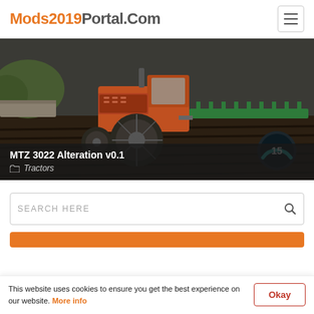Mods2019Portal.Com
[Figure (screenshot): Screenshot of a farming simulator mod page showing a large tractor pulling equipment across a dark tilled field. Overlay shows title 'MTZ 3022 Alteration v0.1' and category 'Tractors'.]
MTZ 3022 Alteration v0.1
Tractors
SEARCH HERE
This website uses cookies to ensure you get the best experience on our website. More info
Okay